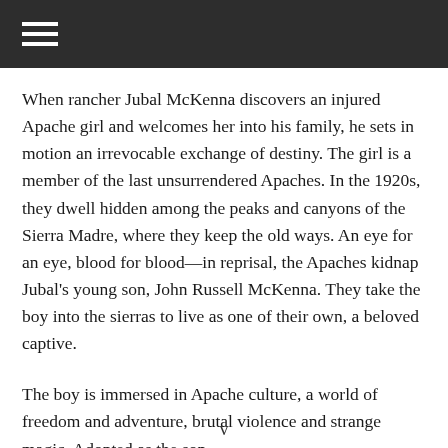When rancher Jubal McKenna discovers an injured Apache girl and welcomes her into his family, he sets in motion an irrevocable exchange of destiny. The girl is a member of the last unsurrendered Apaches. In the 1920s, they dwell hidden among the peaks and canyons of the Sierra Madre, where they keep the old ways. An eye for an eye, blood for blood—in reprisal, the Apaches kidnap Jubal's young son, John Russell McKenna. They take the boy into the sierras to live as one of their own, a beloved captive.
The boy is immersed in Apache culture, a world of freedom and adventure, brutal violence and strange magic. Adopted as the son